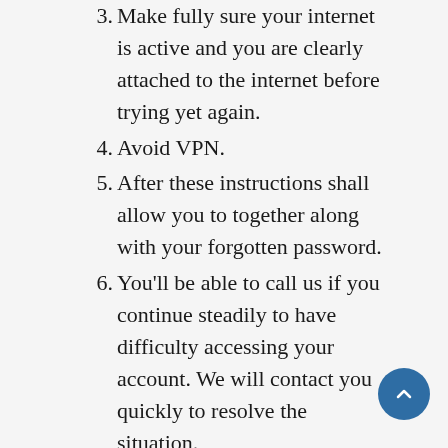3. Make fully sure your internet is active and you are clearly attached to the internet before trying yet again.
4. Avoid VPN.
5. After these instructions shall allow you to together along with your forgotten password.
6. You'll be able to call us if you continue steadily to have difficulty accessing your account. We will contact you quickly to resolve the situation.